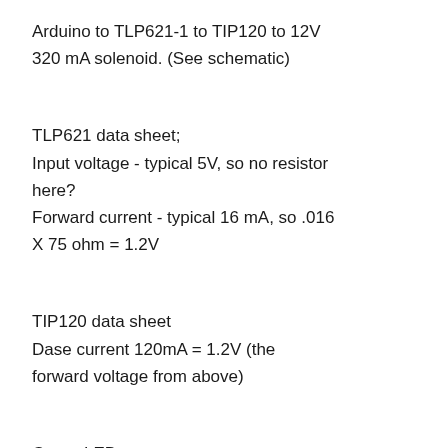Arduino to TLP621-1 to TIP120 to 12V 320 mA solenoid. (See schematic)
TLP621 data sheet;
Input voltage - typical 5V, so no resistor here?
Forward current - typical 16 mA, so .016 X 75 ohm = 1.2V
TIP120 data sheet
Dase current 120mA = 1.2V (the forward voltage from above)
Green LED;